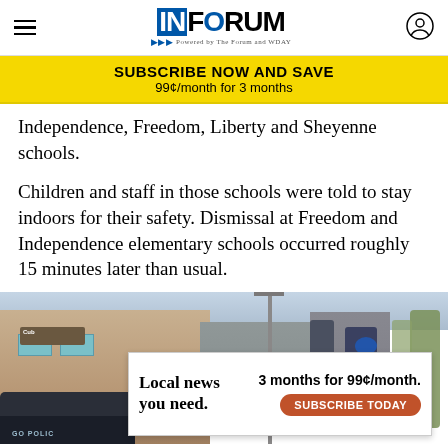INFORUM - Powered by The Forum and WDAY
SUBSCRIBE NOW AND SAVE
99¢/month for 3 months
Independence, Freedom, Liberty and Sheyenne schools.
Children and staff in those schools were told to stay indoors for their safety. Dismissal at Freedom and Independence elementary schools occurred roughly 15 minutes later than usual.
[Figure (photo): Street scene photo showing a commercial area with buildings, parked police car, pedestrians, and trees. An advertisement overlay reads 'Local news you need. 3 months for 99¢/month. SUBSCRIBE TODAY']